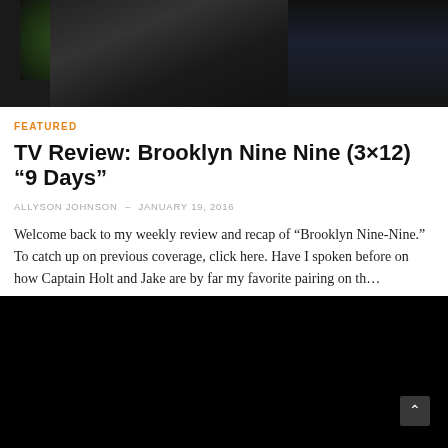[Figure (photo): Two people in dark clothing outdoors, one in a black leather jacket, the other in a dark coat, with green foliage visible on the left and a building in the background]
FEATURED
TV Review: Brooklyn Nine Nine (3×12) “9 Days”
ALLYSON JOHNSON – JANUARY 19, 2016
Welcome back to my weekly review and recap of “Brooklyn Nine-Nine.” To catch up on previous coverage, click here. Have I spoken before on how Captain Holt and Jake are by far my favorite pairing on th…
[Figure (photo): Dark/black image, appears to be a video thumbnail or black screen with a scroll-to-top button in the lower right corner]